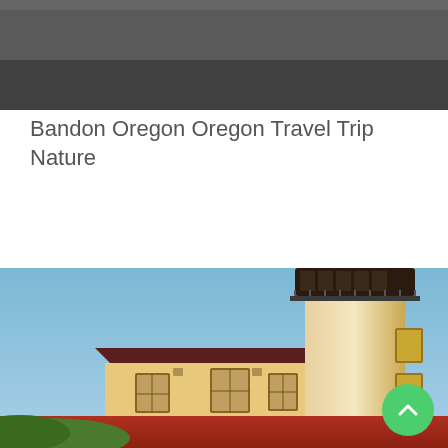[Figure (photo): Partial view of a dark/grey scene, likely the top crop of a landscape or outdoor photo with dark tones at the top of the page.]
Bandon Oregon Oregon Travel Trip Nature
[Figure (photo): Photograph of a lighthouse with a white cylindrical tower and dark lantern room at the top, attached to a cream and red base building. The lighthouse is photographed against a clear blue sky, lit with warm golden light suggesting sunrise or sunset conditions. This is the Coquille River Lighthouse in Bandon, Oregon.]